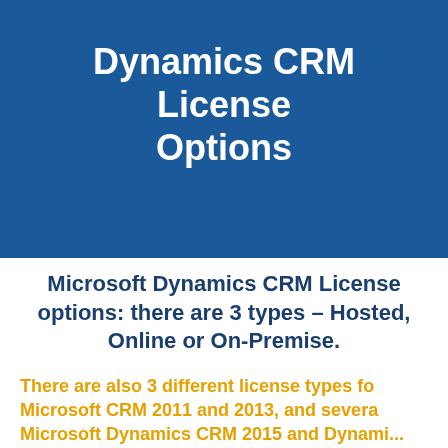Dynamics CRM License Options
Microsoft Dynamics CRM License options: there are 3 types – Hosted, Online or On-Premise.
There are also 3 different license types for Microsoft CRM 2011 and 2013, and several for Microsoft Dynamics CRM 2015 and Dynamics...